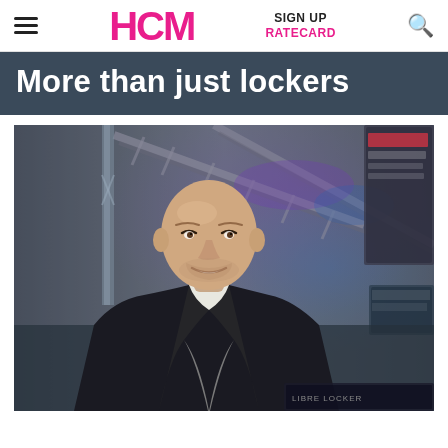HCM | SIGN UP | RATECARD
More than just lockers
[Figure (photo): A bald man in a black suit jacket and white shirt, smiling slightly, photographed indoors against a background showing metal scaffolding/truss structures with purple/blue lighting and display materials.]